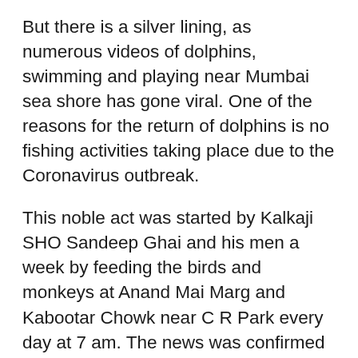But there is a silver lining, as numerous videos of dolphins, swimming and playing near Mumbai sea shore has gone viral. One of the reasons for the return of dolphins is no fishing activities taking place due to the Coronavirus outbreak.
This noble act was started by Kalkaji SHO Sandeep Ghai and his men a week by feeding the birds and monkeys at Anand Mai Marg and Kabootar Chowk near C R Park every day at 7 am. The news was confirmed by a senior official and was quoted saying “Since people were not able to venture out due to lockdown, many good samaritans who used to often feed birds and animals could not continue. So, we noticed hungry monkeys venturing into residential colonies in search of food.”